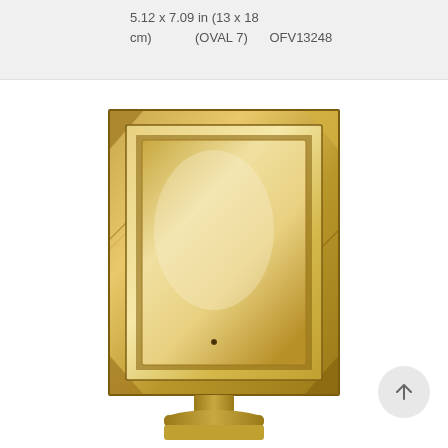5.12 x 7.09 in (13 x 18 cm)     (OVAL 7)     OFV13248
[Figure (photo): Gold/bronze rectangular photo frame with ornate faceted border design, shown on a small pedestal stand. The frame has a reflective interior surface and geometric angular decorative elements on the outer border. View from the back showing the frame opening.]